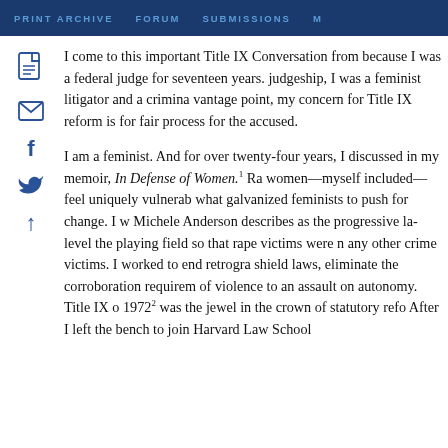PRINT ARCHIVE   FORUM   SUBMISSIONS   M
I come to this important Title IX Conversation fr... because I was a federal judge for seventeen years. ... judgeship, I was a feminist litigator and a crimina... vantage point, my concern for Title IX reform is ... for fair process for the accused.
I am a feminist. And for over twenty-four years, I... discussed in my memoir, In Defense of Women.1 Ra... women—myself included—feel uniquely vulnerab... what galvanized feminists to push for change. I w... Michele Anderson describes as the progressive la... level the playing field so that rape victims were n... any other crime victims. I worked to end retrogra... shield laws, eliminate the corroboration requirem... of violence to an assault on autonomy. Title IX o... 19722 was the jewel in the crown of statutory refo... After I left the bench to join Harvard Law School...